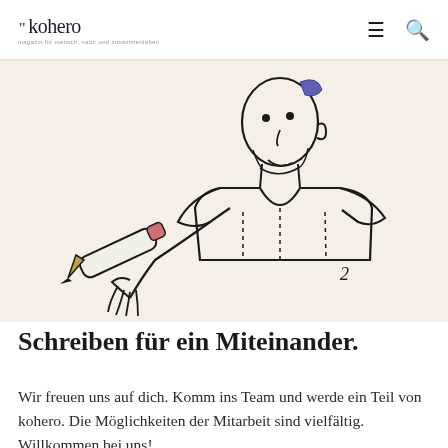kohero
[Figure (illustration): Line drawing illustration of a person holding a pencil, wearing a t-shirt, with a purple/blue accent on the top of the head. Drawn in a simple sketch style on a beige/cream background.]
Schreiben für ein Miteinander.
Wir freuen uns auf dich. Komm ins Team und werde ein Teil von kohero. Die Möglichkeiten der Mitarbeit sind vielfältig. Willkommen bei uns!